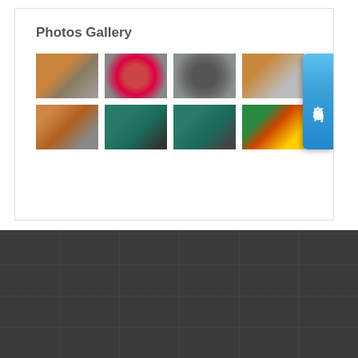Photos Gallery
[Figure (photo): Gallery of 8 industrial/agricultural machinery photos arranged in 2 rows of 4, showing equipment such as tractors, disc pelletizers, wheel loaders, conveyor systems, and pan mixer machines in orange, teal, and yellow colors]
[Figure (logo): Shande company logo with stylized '5D' in red and blue on dark background, with text 'SHANDE' below]